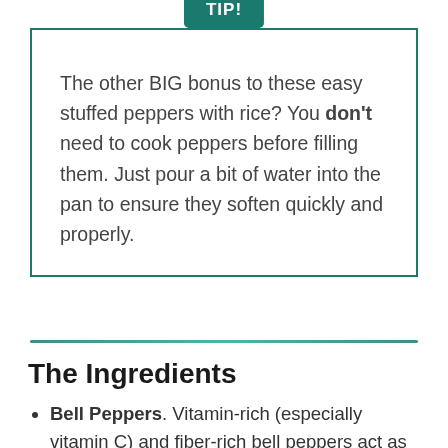The other BIG bonus to these easy stuffed peppers with rice? You don't need to cook peppers before filling them. Just pour a bit of water into the pan to ensure they soften quickly and properly.
The Ingredients
Bell Peppers. Vitamin-rich (especially vitamin C) and fiber-rich bell peppers act as a healthy, colorful, and tender vessel for the flavorful filling. Use any mixture of colors you desire.